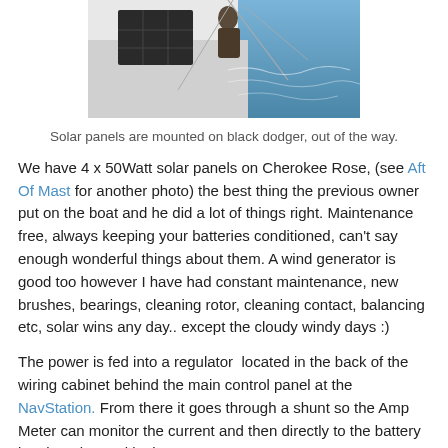[Figure (photo): Person on a sailboat deck, ocean visible, solar panels on black dodger]
Solar panels are mounted on black dodger, out of the way.
We have 4 x 50Watt solar panels on Cherokee Rose, (see Aft Of Mast for another photo) the best thing the previous owner put on the boat and he did a lot of things right. Maintenance free, always keeping your batteries conditioned, can't say enough wonderful things about them. A wind generator is good too however I have had constant maintenance, new brushes, bearings, cleaning rotor, cleaning contact, balancing etc, solar wins any day.. except the cloudy windy days :)
The power is fed into a regulator  located in the back of the wiring cabinet behind the main control panel at the NavStation. From there it goes through a shunt so the Amp Meter can monitor the current and then directly to the battery bus bars located in the NavSeat.